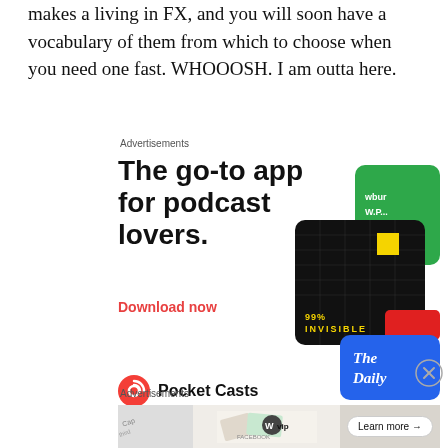makes a living in FX, and you will soon have a vocabulary of them from which to choose when you need one fast. WHOOOSH. I am outta here.
Advertisements
[Figure (illustration): Pocket Casts advertisement. Headline: 'The go-to app for podcast lovers.' Call to action: 'Download now' in red. Shows app cards including 99% Invisible and The Daily. Pocket Casts logo at bottom.]
REPORT THIS AD
Advertisements
[Figure (illustration): WordPress VIP advertisement banner with 'Learn more' button and decorative imagery.]